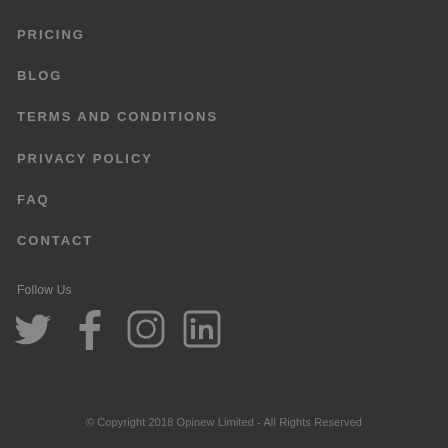PRICING
BLOG
TERMS AND CONDITIONS
PRIVACY POLICY
FAQ
CONTACT
Follow Us
[Figure (illustration): Social media icons: Twitter, Facebook, Instagram, LinkedIn]
© Copyright 2018 Opinew Limited - All Rights Reserved